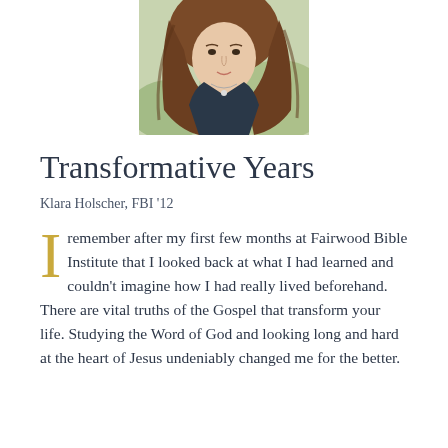[Figure (photo): Circular cropped portrait photo of a young woman with long brown hair wearing a dark floral top and a necklace, photographed outdoors.]
Transformative Years
Klara Holscher, FBI '12
I remember after my first few months at Fairwood Bible Institute that I looked back at what I had learned and couldn't imagine how I had really lived beforehand. There are vital truths of the Gospel that transform your life. Studying the Word of God and looking long and hard at the heart of Jesus undeniably changed me for the better.